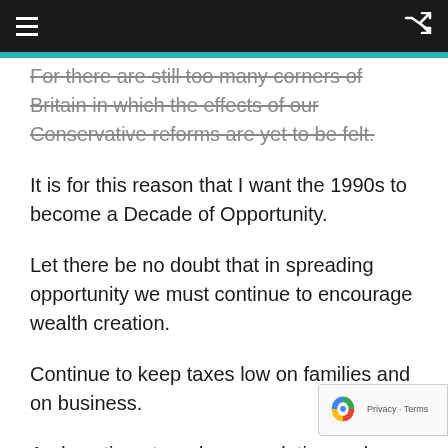For there are still too many corners of Britain in which the effects of our Conservative reforms are yet to be felt.
It is for this reason that I want the 1990s to become a Decade of Opportunity.
Let there be no doubt that in spreading opportunity we must continue to encourage wealth creation.
Continue to keep taxes low on families and on business.
And continue to reduce regulation and promote enterprise.
And, of course, we must continue to enlarge the private sector wherever we can. But where services...